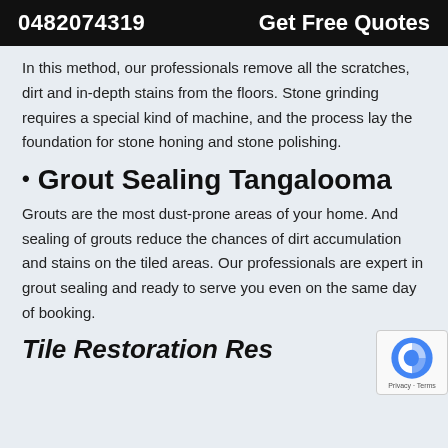0482074319   Get Free Quotes
In this method, our professionals remove all the scratches, dirt and in-depth stains from the floors. Stone grinding requires a special kind of machine, and the process lay the foundation for stone honing and stone polishing.
Grout Sealing Tangalooma
Grouts are the most dust-prone areas of your home. And sealing of grouts reduce the chances of dirt accumulation and stains on the tiled areas. Our professionals are expert in grout sealing and ready to serve you even on the same day of booking.
Tile Restoration Res...